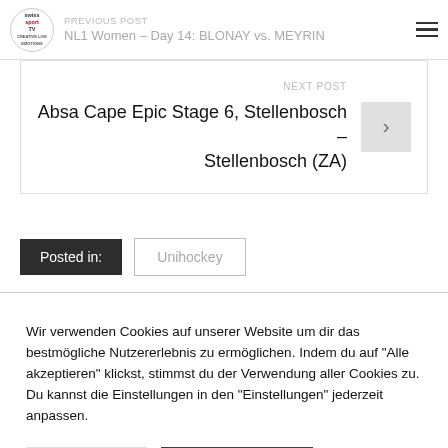PREVIOUS POST NL1 Women – Day 14: BLONAY vs. MEYRIN
NEXT POST
Absa Cape Epic Stage 6, Stellenbosch – Stellenbosch (ZA)
Posted in: Unihockey
Wir verwenden Cookies auf unserer Website um dir das bestmögliche Nutzererlebnis zu ermöglichen. Indem du auf "Alle akzeptieren" klickst, stimmst du der Verwendung aller Cookies zu. Du kannst die Einstellungen in den "Einstellungen" jederzeit anpassen.